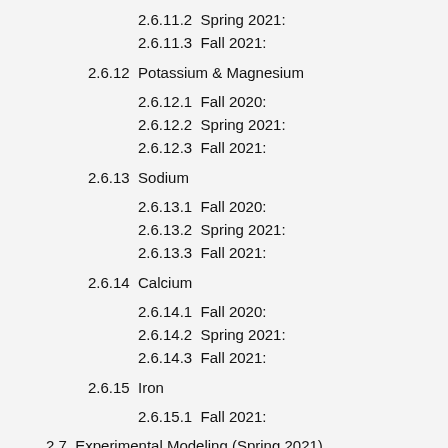2.6.11.2  Spring 2021:
2.6.11.3  Fall 2021:
2.6.12  Potassium & Magnesium
2.6.12.1  Fall 2020:
2.6.12.2  Spring 2021:
2.6.12.3  Fall 2021:
2.6.13  Sodium
2.6.13.1  Fall 2020:
2.6.13.2  Spring 2021:
2.6.13.3  Fall 2021:
2.6.14  Calcium
2.6.14.1  Fall 2020:
2.6.14.2  Spring 2021:
2.6.14.3  Fall 2021:
2.6.15  Iron
2.6.15.1  Fall 2021:
2.7  Experimental Modeling (Spring 2021)
2.8  Statistical Analysis (Fall 2021)
2.9  Sustainability
3  Final Posters